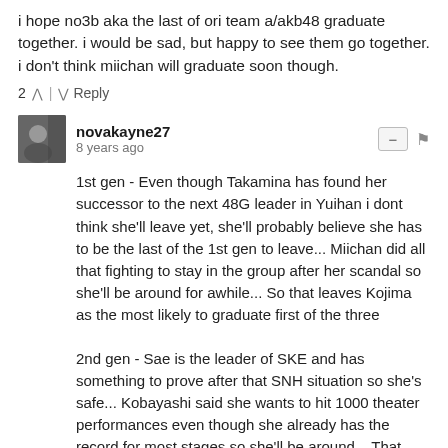i hope no3b aka the last of ori team a/akb48 graduate together. i would be sad, but happy to see them go together. i don't think miichan will graduate soon though.
2 ^ | v Reply
novakayne27
8 years ago
1st gen - Even though Takamina has found her successor to the next 48G leader in Yuihan i dont think she'll leave yet, she'll probably believe she has to be the last of the 1st gen to leave... Miichan did all that fighting to stay in the group after her scandal so she'll be around for awhile... So that leaves Kojima as the most likely to graduate first of the three
2nd gen - Sae is the leader of SKE and has something to prove after that SNH situation so she's safe... Kobayashi said she wants to hit 1000 theater performances even though she already has the record for most stages so she'll be around... That leaves Umeda as the most likely to graduate, she reached her peak in 48G and is around that age when graduations happen... When DIVA disbands later this year i think she'll graduate